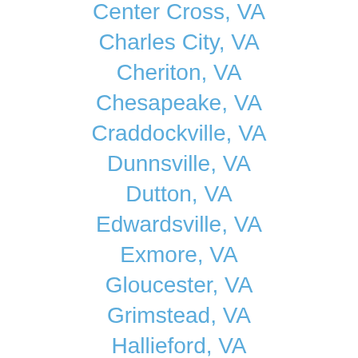Center Cross, VA
Charles City, VA
Cheriton, VA
Chesapeake, VA
Craddockville, VA
Dunnsville, VA
Dutton, VA
Edwardsville, VA
Exmore, VA
Gloucester, VA
Grimstead, VA
Hallieford, VA
Hampton, VA
Heathsville, VA